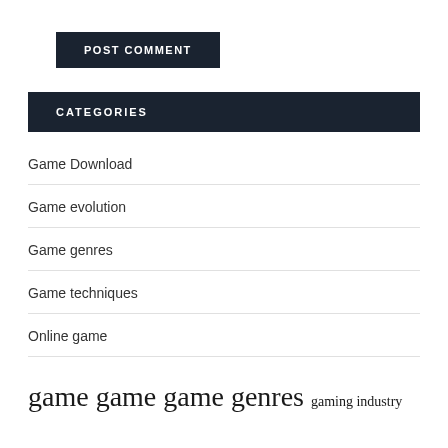POST COMMENT
CATEGORIES
Game Download
Game evolution
Game genres
Game techniques
Online game
game game game genres gaming industry